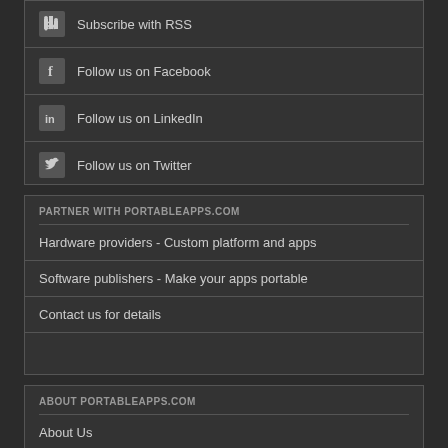Subscribe with RSS
Follow us on Facebook
Follow us on LinkedIn
Follow us on Twitter
PARTNER WITH PORTABLEAPPS.COM
Hardware providers - Custom platform and apps
Software publishers - Make your apps portable
Contact us for details
ABOUT PORTABLEAPPS.COM
About Us